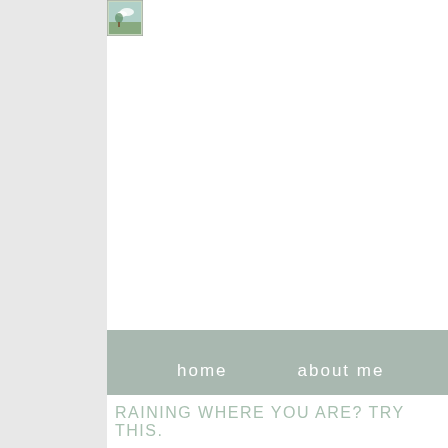[Figure (logo): Small square icon with green/teal leaf or landscape image, positioned at top-left of main content area]
home   about me   contact me
Raining where you are? Try this.